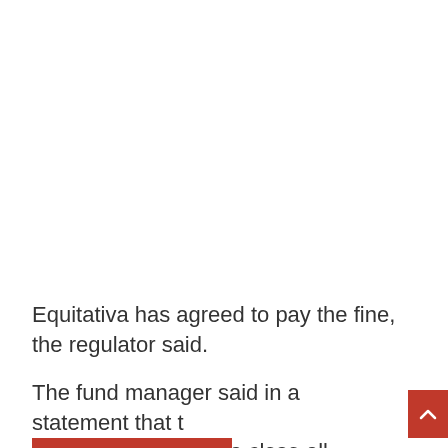Equitativa has agreed to pay the fine, the regulator said.
The fund manager said in a statement that the settlement brings to a close all investigations on Equitativa.